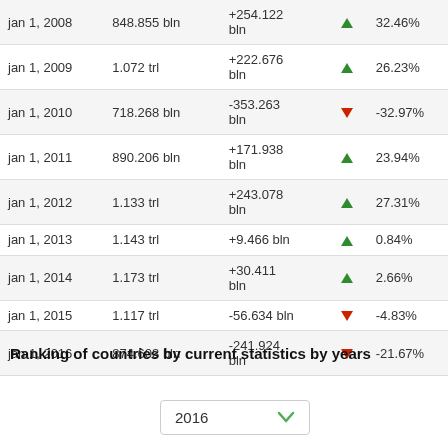| Date | Value | Change |  | % Change |
| --- | --- | --- | --- | --- |
| jan 1, 2008 | 848.855 bln | +254.122 bln | ▲ | 32.46% |
| jan 1, 2009 | 1.072 trl | +222.676 bln | ▲ | 26.23% |
| jan 1, 2010 | 718.268 bln | -353.263 bln | ▼ | -32.97% |
| jan 1, 2011 | 890.206 bln | +171.938 bln | ▲ | 23.94% |
| jan 1, 2012 | 1.133 trl | +243.078 bln | ▲ | 27.31% |
| jan 1, 2013 | 1.143 trl | +9.466 bln | ▲ | 0.84% |
| jan 1, 2014 | 1.173 trl | +30.411 bln | ▲ | 2.66% |
| jan 1, 2015 | 1.117 trl | -56.634 bln | ▼ | -4.83% |
| jan 1, 2016 | 874.603 bln | -241.924 bln | ▼ | -21.67% |
Ranking of countries by current statistics by years
2016